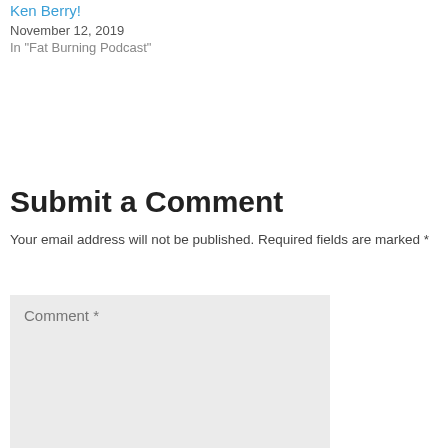Ken Berry!
November 12, 2019
In "Fat Burning Podcast"
Submit a Comment
Your email address will not be published. Required fields are marked *
Comment *